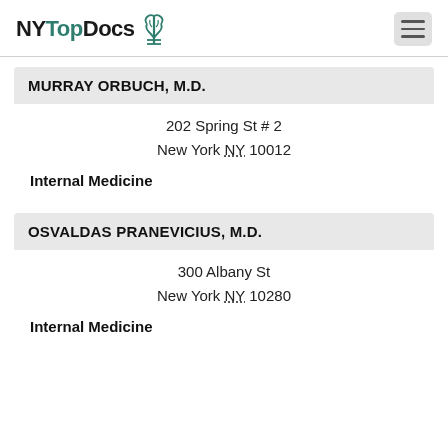NYTopDocs
MURRAY ORBUCH, M.D.
202 Spring St # 2
New York NY 10012
Internal Medicine
OSVALDAS PRANEVICIUS, M.D.
300 Albany St
New York NY 10280
Internal Medicine